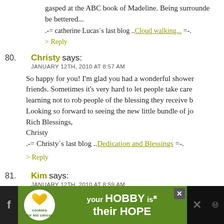gasped at the ABC book of Madeline. Being surrounded be bettered...
.-= catherine Lucas´s last blog ..Cloud walking... =-.
> Reply
80. Christy says: JANUARY 12TH, 2010 AT 8:57 AM — So happy for you! I'm glad you had a wonderful shower friends. Sometimes it's very hard to let people take care learning not to rob people of the blessing they receive b Looking so forward to seeing the new little bundle of jo Rich Blessings, Christy .-= Christy´s last blog ..Dedication and Blessings =-. > Reply
81. Kim says: JANUARY 12TH, 2010 AT 8:59 AM
[Figure (infographic): Advertisement banner: 'cookies for kid cancer' logo with a heart, text 'your HOBBY is their HOPE' on green background, with social media icons on sides]